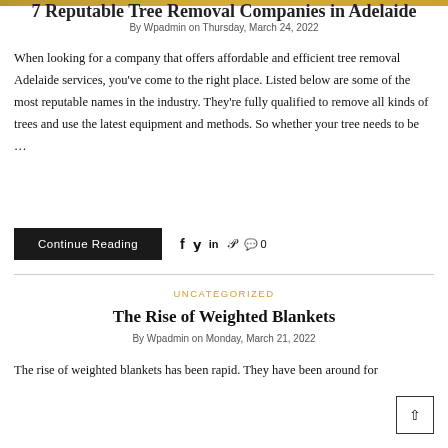7 Reputable Tree Removal Companies in Adelaide
By Wpadmin on Thursday, March 24, 2022
When looking for a company that offers affordable and efficient tree removal Adelaide services, you've come to the right place. Listed below are some of the most reputable names in the industry. They're fully qualified to remove all kinds of trees and use the latest equipment and methods. So whether your tree needs to be …
Continue Reading
UNCATEGORIZED
The Rise of Weighted Blankets
By Wpadmin on Monday, March 21, 2022
The rise of weighted blankets has been rapid. They have been around for